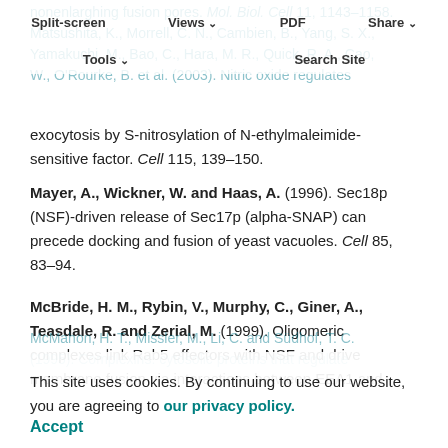Split-screen  Views  PDF  Share  Tools  Search Site
nonenlarghing fusion pores. Mol. Biol. Cell 11, 1143–1158. Matsushita, K., Morrell, C. N., Cambien, B., Yang, S. X., Yamakuchi, M., Bao, C., Hara, M. R., Quick, R. A., Cao, W., O'Rourke, B. et al. (2003). Nitric oxide regulates exocytosis by S-nitrosylation of N-ethylmaleimide-sensitive factor. Cell 115, 139–150.
Mayer, A., Wickner, W. and Haas, A. (1996). Sec18p (NSF)-driven release of Sec17p (alpha-SNAP) can precede docking and fusion of yeast vacuoles. Cell 85, 83–94.
McBride, H. M., Rybin, V., Murphy, C., Giner, A., Teasdale, R. and Zerial, M. (1999). Oligomeric complexes link Rab5 effectors with NSF and drive membrane fusion via interactions between EEA1 and
This site uses cookies. By continuing to use our website, you are agreeing to our privacy policy. Accept
McMahon, H. T., Missler, M., Li, C. and Südhof, T. C. (1995). Complexins: cytosolic proteins that regulate